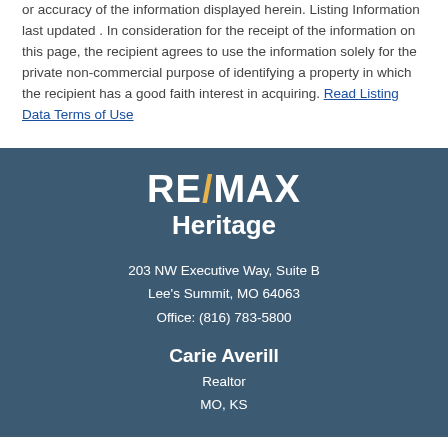or accuracy of the information displayed herein. Listing Information last updated . In consideration for the receipt of the information on this page, the recipient agrees to use the information solely for the private non-commercial purpose of identifying a property in which the recipient has a good faith interest in acquiring. Read Listing Data Terms of Use
[Figure (logo): RE/MAX Heritage logo in white text on dark blue-grey background]
203 NW Executive Way, Suite B
Lee's Summit, MO 64063
Office: (816) 783-5800
Carie Averill
Realtor
MO, KS